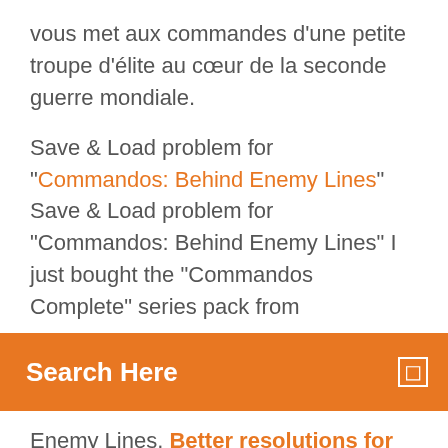vous met aux commandes d'une petite troupe d'élite au cœur de la seconde guerre mondiale.
Save & Load problem for "Commandos: Behind Enemy Lines" Save & Load problem for "Commandos: Behind Enemy Lines" I just bought the "Commandos Complete" series pack from
Search Here
Enemy Lines. Better resolutions for Single/Multiplayer Commandos ... Commandos - Behind Enemy Lines (BEL) and Commandos - Beyond The Call Of Duty (BTCOD) resolution fix! Commandos Modding Post edited December 01, 2014 by montcer9012 Commandos Behind Enemy Lines - Old PC Gaming Even so, the first Commandos game turned out to be a gripping, time-consuming journey through World War II. Eidos has managed to take the drama of classic Hollywood war blockbusters and molded them all into one entertaining, if highly